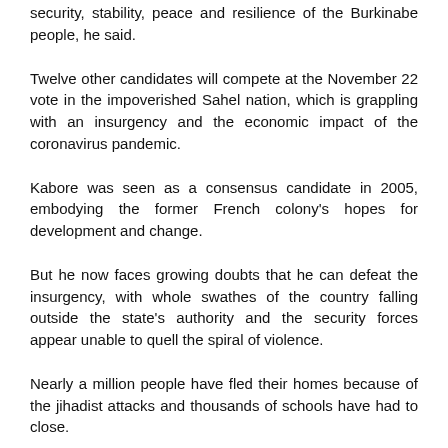security, stability, peace and resilience of the Burkinabe people, he said.
Twelve other candidates will compete at the November 22 vote in the impoverished Sahel nation, which is grappling with an insurgency and the economic impact of the coronavirus pandemic.
Kabore was seen as a consensus candidate in 2005, embodying the former French colony's hopes for development and change.
But he now faces growing doubts that he can defeat the insurgency, with whole swathes of the country falling outside the state's authority and the security forces appear unable to quell the spiral of violence.
Nearly a million people have fled their homes because of the jihadist attacks and thousands of schools have had to close.
Originally scheduled for October 31, the launch of the campaign for Kabore and his People's Movement for Progress (MPP) party